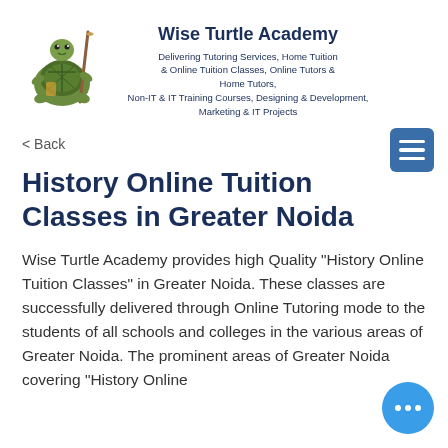[Figure (logo): Wise Turtle Academy logo — cartoon turtle character holding a staff]
Wise Turtle Academy
Delivering Tutoring Services, Home Tuition & Online Tuition Classes, Online Tutors & Home Tutors, Non-IT & IT Training Courses, Designing & Development, Marketing & IT Projects
< Back
History Online Tuition Classes in Greater Noida
Wise Turtle Academy provides high Quality "History Online Tuition Classes" in Greater Noida. These classes are successfully delivered through Online Tutoring mode to the students of all schools and colleges in the various areas of Greater Noida. The prominent areas of Greater Noida covering "History Online